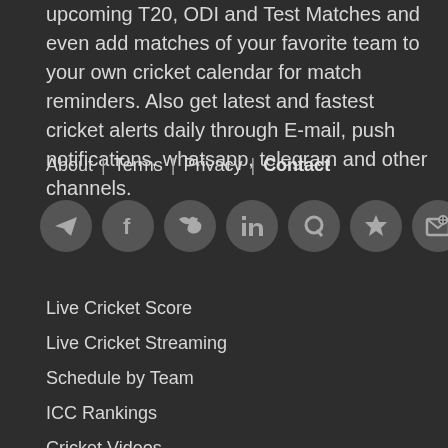upcoming T20, ODI and Test Matches and even add matches of your favorite team to your own cricket calendar for match reminders. Also get latest and fastest cricket alerts daily through E-mail, push notifications, whatsapp, telegram and other channels.
About | Terms | Privacy | Contact
[Figure (other): Row of 8 social media icon circles: Telegram, Facebook, Twitter, LinkedIn, Quora, Google Reviews/Star, Email, YouTube]
Live Cricket Score
Live Cricket Streaming
Schedule by Team
ICC Rankings
Cricket Videos
Cricket News